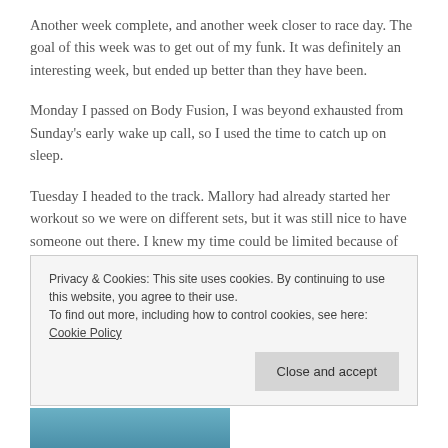Another week complete, and another week closer to race day. The goal of this week was to get out of my funk. It was definitely an interesting week, but ended up better than they have been.
Monday I passed on Body Fusion, I was beyond exhausted from Sunday's early wake up call, so I used the time to catch up on sleep.
Tuesday I headed to the track. Mallory had already started her workout so we were on different sets, but it was still nice to have someone out there. I knew my time could be limited because of storms rolling in, but halfway through my
Privacy & Cookies: This site uses cookies. By continuing to use this website, you agree to their use.
To find out more, including how to control cookies, see here: Cookie Policy